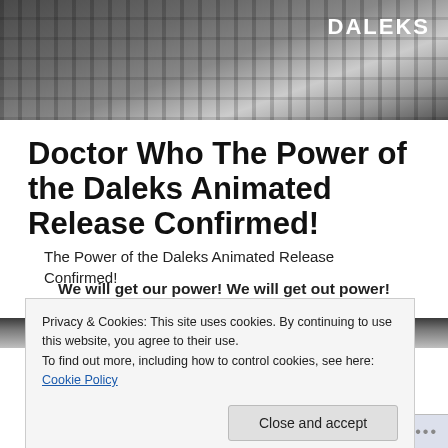[Figure (photo): Dark monochrome image of mechanical/Dalek-related equipment with the word DALEKS in bold white text at top right]
Doctor Who The Power of the Daleks Animated Release Confirmed!
The Power of the Daleks Animated Release Confirmed!
We will get our power! We will get out power!
[Figure (photo): Dark gradient image, partial view of a scene]
Privacy & Cookies: This site uses cookies. By continuing to use this website, you agree to their use.
To find out more, including how to control cookies, see here: Cookie Policy
Close and accept
Follow